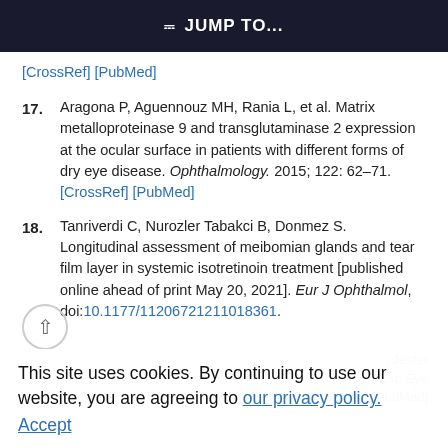JUMP TO...
[CrossRef] [PubMed]
17. Aragona P, Aguennouz MH, Rania L, et al. Matrix metalloproteinase 9 and transglutaminase 2 expression at the ocular surface in patients with different forms of dry eye disease. Ophthalmology. 2015; 122: 62–71. [CrossRef] [PubMed]
18. Tanriverdi C, Nurozler Tabakci B, Donmez S. Longitudinal assessment of meibomian glands and tear film layer in systemic isotretinoin treatment [published online ahead of print May 20, 2021]. Eur J Ophthalmol, doi:10.1177/11206721211018361.
This site uses cookies. By continuing to use our website, you are agreeing to our privacy policy. Accept